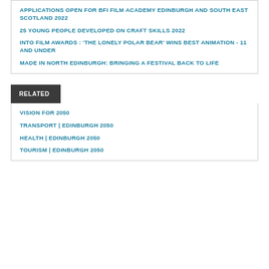APPLICATIONS OPEN FOR BFI FILM ACADEMY EDINBURGH AND SOUTH EAST SCOTLAND 2022
25 YOUNG PEOPLE DEVELOPED ON CRAFT SKILLS 2022
INTO FILM AWARDS : 'THE LONELY POLAR BEAR' WINS BEST ANIMATION - 11 AND UNDER
MADE IN NORTH EDINBURGH: BRINGING A FESTIVAL BACK TO LIFE
RELATED
VISION FOR 2050
TRANSPORT | EDINBURGH 2050
HEALTH | EDINBURGH 2050
TOURISM | EDINBURGH 2050